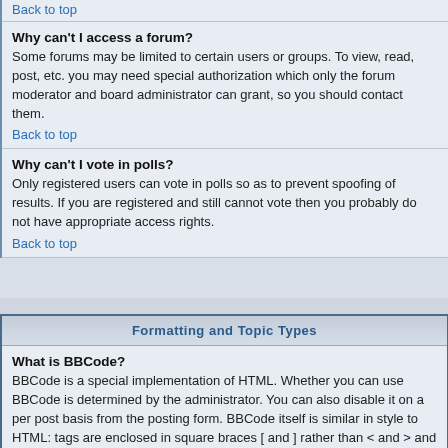Back to top
Why can't I access a forum?
Some forums may be limited to certain users or groups. To view, read, post, etc. you may need special authorization which only the forum moderator and board administrator can grant, so you should contact them.
Back to top
Why can't I vote in polls?
Only registered users can vote in polls so as to prevent spoofing of results. If you are registered and still cannot vote then you probably do not have appropriate access rights.
Back to top
Formatting and Topic Types
What is BBCode?
BBCode is a special implementation of HTML. Whether you can use BBCode is determined by the administrator. You can also disable it on a per post basis from the posting form. BBCode itself is similar in style to HTML: tags are enclosed in square braces [ and ] rather than < and > and it offers greater control over what and how something is displayed. For more information on BBCode see the guide which can be accessed from the posting page.
Back to top